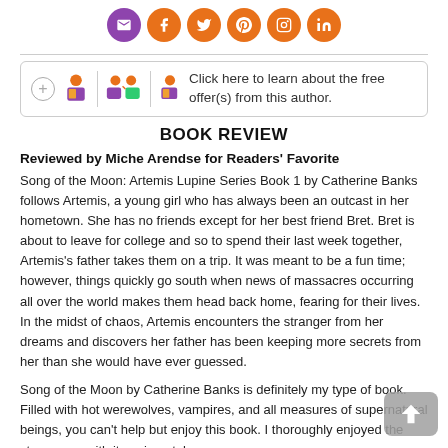[Figure (illustration): Row of social media icon circles: email (purple), Facebook (orange), Twitter (orange), Pinterest (orange), Instagram (orange), LinkedIn (orange)]
BOOK REVIEW
Reviewed by Miche Arendse for Readers' Favorite
Song of the Moon: Artemis Lupine Series Book 1 by Catherine Banks follows Artemis, a young girl who has always been an outcast in her hometown. She has no friends except for her best friend Bret. Bret is about to leave for college and so to spend their last week together, Artemis's father takes them on a trip. It was meant to be a fun time; however, things quickly go south when news of massacres occurring all over the world makes them head back home, fearing for their lives. In the midst of chaos, Artemis encounters the stranger from her dreams and discovers her father has been keeping more secrets from her than she would have ever guessed.
Song of the Moon by Catherine Banks is definitely my type of book. Filled with hot werewolves, vampires, and all measures of supernatural beings, you can't help but enjoy this book. I thoroughly enjoyed the story, even with its unique take on